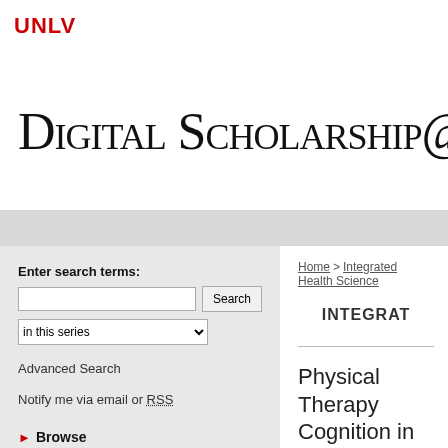UNLV
Digital Scholarship@U
Enter search terms:
Advanced Search
Notify me via email or RSS
Browse
Collections
Disciplines
Home > Integrated Health Science
INTEGRAT
Physical Therapy Cognition in Indiv Impairment: A Re